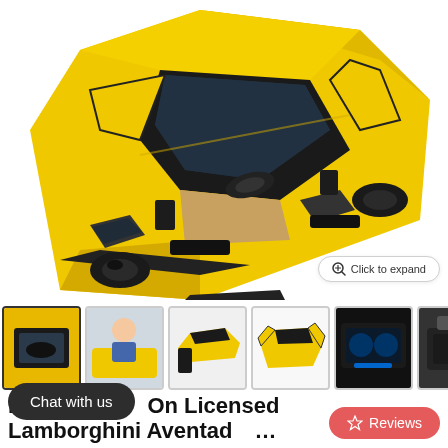[Figure (photo): Top-down angled view of a yellow Lamborghini Aventador children's ride-on electric car with open scissor doors and black interior]
[Figure (photo): Row of product thumbnail images: interior view, child riding the car, side with open doors, front view with open doors, dashboard/interior close-up, battery/charger component; followed by next arrow]
Click to expand
Chat with us
Reviews
Electric Ride On Licensed Lamborghini Aventador Yellow DRIFT...